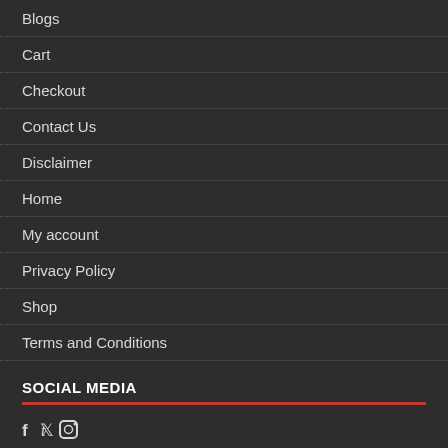Blogs
Cart
Checkout
Contact Us
Disclaimer
Home
My account
Privacy Policy
Shop
Terms and Conditions
SOCIAL MEDIA
[Figure (other): Social media icons: Facebook (f), Twitter (bird), Instagram (camera)]
CATEGORIES